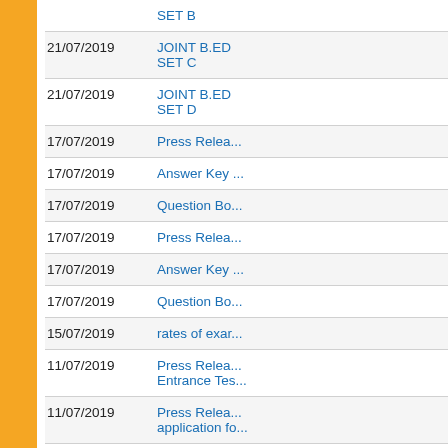| # | Date | Title |
| --- | --- | --- |
| 295. |  | SET B |
| 296. | 21/07/2019 | JOINT B.ED SET C |
| 297. | 21/07/2019 | JOINT B.ED SET D |
| 298. | 17/07/2019 | Press Relea... |
| 299. | 17/07/2019 | Answer Key ... |
| 300. | 17/07/2019 | Question Bo... |
| 301. | 17/07/2019 | Press Relea... |
| 302. | 17/07/2019 | Answer Key ... |
| 303. | 17/07/2019 | Question Bo... |
| 304. | 15/07/2019 | rates of exar... |
| 305. | 11/07/2019 | Press Relea... Entrance Tes... |
| 306. | 11/07/2019 | Press Relea... application fo... |
| 307. | 09/07/2019 | PULEET-201... |
| 308. | 09/07/2019 | PUMEET-20... |
| 309. | 06/07/2019 | Result of PU... |